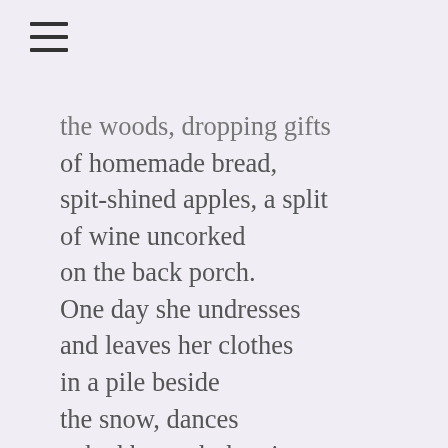≡
the woods, dropping gifts
of homemade bread,
spit-shined apples, a split
of wine uncorked
on the back porch.
One day she undresses
and leaves her clothes
in a pile beside
the snow, dances
naked beneath the pine
boughs, gathers brush and twigs
to build a hut around
a bed of rags and straw,
burns dried lavender